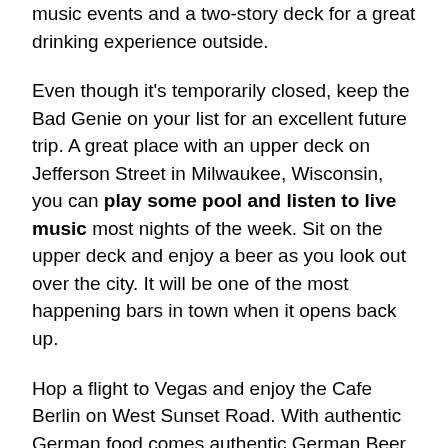at home with an entirely separate room for live music events and a two-story deck for a great drinking experience outside.
Even though it's temporarily closed, keep the Bad Genie on your list for an excellent future trip. A great place with an upper deck on Jefferson Street in Milwaukee, Wisconsin, you can play some pool and listen to live music most nights of the week. Sit on the upper deck and enjoy a beer as you look out over the city. It will be one of the most happening bars in town when it opens back up.
Hop a flight to Vegas and enjoy the Cafe Berlin on West Sunset Road. With authentic German food comes authentic German Beer. Of course, you'll most likely be gambling when you hit Vegas. But